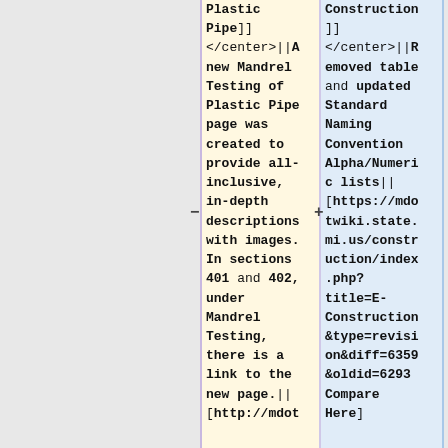Plastic Pipe]] </center>||A new Mandrel Testing of Plastic Pipe page was created to provide all-inclusive, in-depth descriptions with images. In sections 401 and 402, under Mandrel Testing, there is a link to the new page.|| [http://mdot
Construction ]] </center>||Removed table and updated Standard Naming Convention Alpha/Numeric lists|| [https://mdotwiki.state.mi.us/construction/index.php?title=E-Construction&type=revision&diff=6359&oldid=6293 Compare Here]